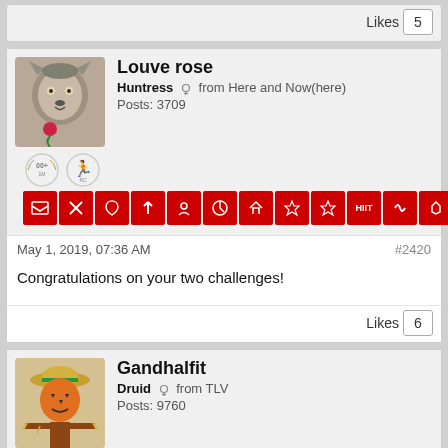Likes  5
[Figure (illustration): Wolf avatar for Louve rose]
Louve rose
Huntress ♀ from Here and Now(here)
Posts: 3709
[Figure (illustration): Achievement badges and red icon strip for Louve rose]
May 1, 2019, 07:36 AM   #2420
Congratulations on your two challenges!
Likes  6
[Figure (illustration): Scarecrow avatar for Gandhalfit]
Gandhalfit
Druid ♀ from TLV
Posts: 9760